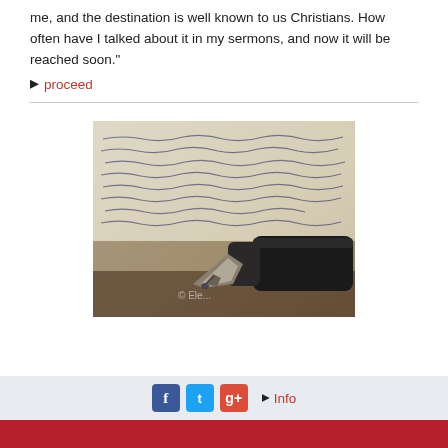me, and the destination is well known to us Christians. How often have I talked about it in my sermons, and now it will be reached soon."
proceed
[Figure (photo): Close-up photograph of a fountain pen nib resting on handwritten cursive text on paper]
f t g+ Info